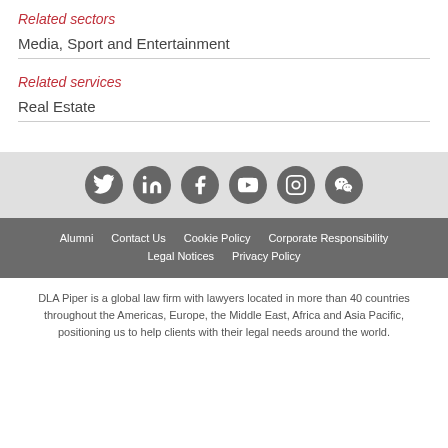Related sectors
Media, Sport and Entertainment
Related services
Real Estate
[Figure (other): Social media icons bar with Twitter, LinkedIn, Facebook, YouTube, Instagram, WeChat icons in dark grey circles on light grey background]
Alumni   Contact Us   Cookie Policy   Corporate Responsibility   Legal Notices   Privacy Policy
DLA Piper is a global law firm with lawyers located in more than 40 countries throughout the Americas, Europe, the Middle East, Africa and Asia Pacific, positioning us to help clients with their legal needs around the world.